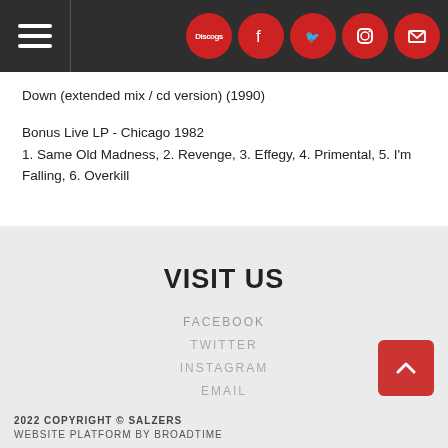Navigation bar with hamburger menu and social icons (Discogs, Facebook, Twitter, Instagram, Email)
Down (extended mix / cd version) (1990)
Bonus Live LP - Chicago 1982
1. Same Old Madness, 2. Revenge, 3. Effegy, 4. Primental, 5. I'm Falling, 6. Overkill
VISIT US
FACEBOOK
TWITTER
INSTAGRAM
EMAIL
2022 COPYRIGHT © SALZERS
WEBSITE PLATFORM BY BROADTIME